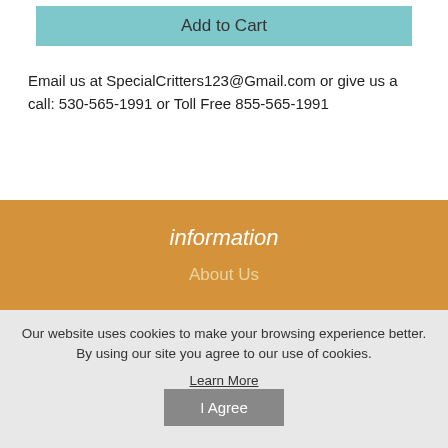Add to Cart
Email us at SpecialCritters123@Gmail.com or give us a call: 530-565-1991 or Toll Free 855-565-1991
information
About Us
Our website uses cookies to make your browsing experience better. By using our site you agree to our use of cookies.
Learn More
I Agree